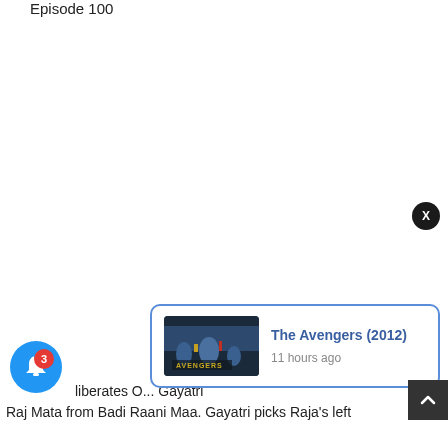Episode 100
liberates O... Raj Mata from Badi Raani Maa. Gayatri picks Raja's left
[Figure (screenshot): Notification popup showing 'The Avengers (2012)' with movie thumbnail and '11 hours ago' timestamp, with a blue border and close X button]
[Figure (screenshot): Blue circular bell notification button with red badge showing number 3]
[Figure (screenshot): Dark back-to-top arrow button at bottom right]